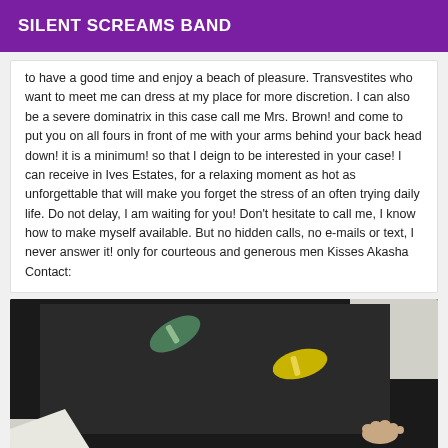SILENT SCREAMS BAND
to have a good time and enjoy a beach of pleasure. Transvestites who want to meet me can dress at my place for more discretion. I can also be a severe dominatrix in this case call me Mrs. Brown! and come to put you on all fours in front of me with your arms behind your back head down! it is a minimum! so that I deign to be interested in your case! I can receive in Ives Estates, for a relaxing moment as hot as unforgettable that will make you forget the stress of an often trying daily life. Do not delay, I am waiting for you! Don't hesitate to call me, I know how to make myself available. But no hidden calls, no e-mails or text, I never answer it! only for courteous and generous men Kisses Akasha Contact:
[Figure (photo): Photo showing flip flops on a dark mat with a foot visible at the bottom right]